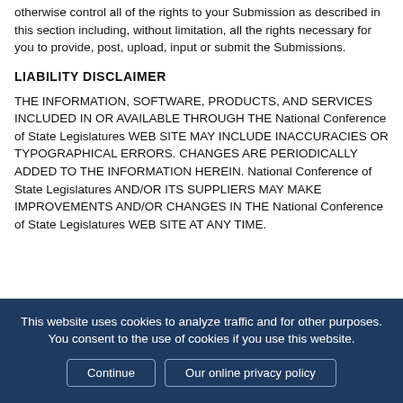otherwise control all of the rights to your Submission as described in this section including, without limitation, all the rights necessary for you to provide, post, upload, input or submit the Submissions.
LIABILITY DISCLAIMER
THE INFORMATION, SOFTWARE, PRODUCTS, AND SERVICES INCLUDED IN OR AVAILABLE THROUGH THE National Conference of State Legislatures WEB SITE MAY INCLUDE INACCURACIES OR TYPOGRAPHICAL ERRORS. CHANGES ARE PERIODICALLY ADDED TO THE INFORMATION HEREIN. National Conference of State Legislatures AND/OR ITS SUPPLIERS MAY MAKE IMPROVEMENTS AND/OR CHANGES IN THE National Conference of State Legislatures WEB SITE AT ANY TIME.
This website uses cookies to analyze traffic and for other purposes. You consent to the use of cookies if you use this website.